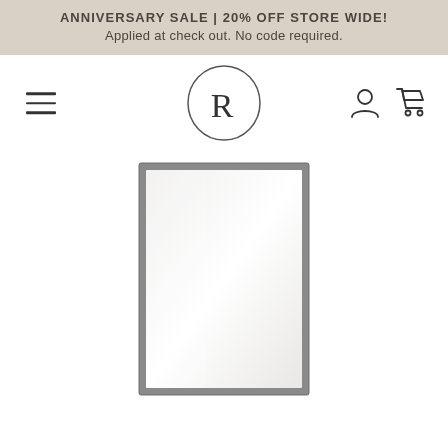ANNIVERSARY SALE | 20% OFF STORE WIDE! Applied at check out. No code required.
[Figure (logo): Store navigation bar with hamburger menu on left, circular R logo in center, user account and shopping cart icons on right]
[Figure (photo): Product image of a tall rectangular mirror with a thin dark metal frame, shown against a white background. The mirror is portrait orientation and reflects a soft white/light gray gradient.]